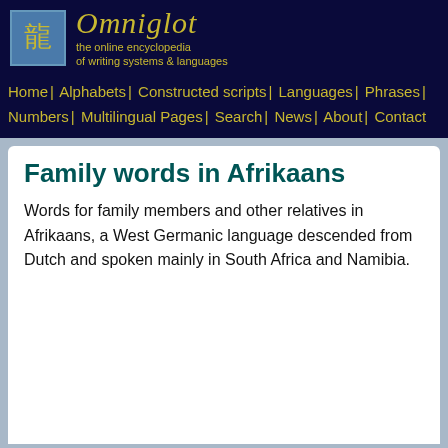Omniglot – the online encyclopedia of writing systems & languages
Home | Alphabets | Constructed scripts | Languages | Phrases | Numbers | Multilingual Pages | Search | News | About | Contact
Family words in Afrikaans
Words for family members and other relatives in Afrikaans, a West Germanic language descended from Dutch and spoken mainly in South Africa and Namibia.